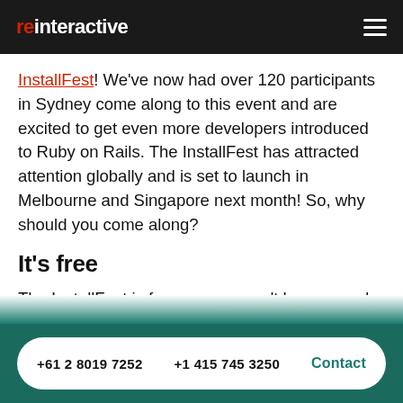reinteractive
InstallFest! We've now had over 120 participants in Sydney come along to this event and are excited to get even more developers introduced to Ruby on Rails. The InstallFest has attracted attention globally and is set to launch in Melbourne and Singapore next month! So, why should you come along?
It's free
The InstallFest is free, so you won't have spend a cent to learn Ruby on Rails. Thanks to the help of our awesome Community
+61 2 8019 7252    +1 415 745 3250    Contact